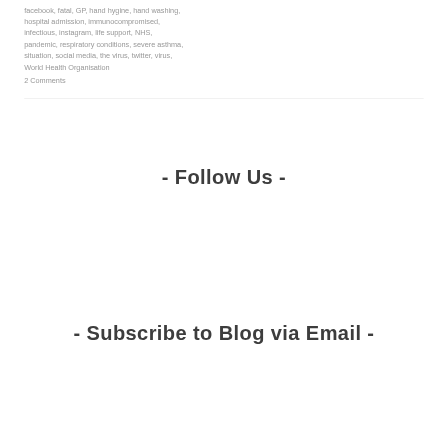facebook, fatal, GP, hand hygine, hand washing, hospital admission, immunocompromised, infectious, instagram, life support, NHS, pandemic, respiratory conditions, severe asthma, situation, social media, the virus, twitter, virus, World Health Organisation
2 Comments
- Follow Us -
- Subscribe to Blog via Email -